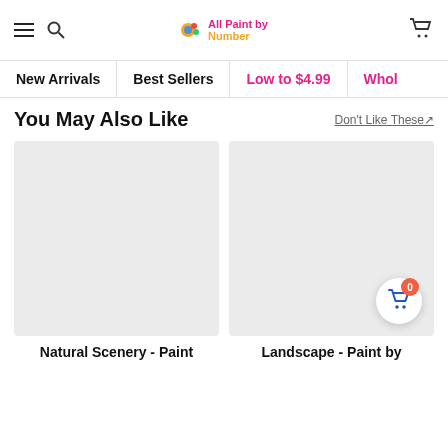Navigation header with hamburger menu, search icon, All Paint by Number logo, and cart icon
New Arrivals | Best Sellers | Low to $4.99 | Whol...
You May Also Like
Don't Like These
[Figure (photo): Product image placeholder (light gray background) for Natural Scenery - Paint]
Natural Scenery - Paint
[Figure (photo): Product image placeholder (light gray background) for Landscape - Paint by with floating cart button showing badge 0]
Landscape - Paint by